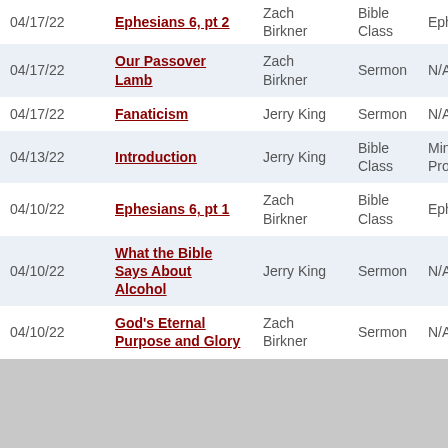| Date | Title | Speaker | Type | Series |
| --- | --- | --- | --- | --- |
| 04/17/22 | Ephesians 6, pt 2 | Zach Birkner | Bible Class | Ephesians |
| 04/17/22 | Our Passover Lamb | Zach Birkner | Sermon | N/A |
| 04/17/22 | Fanaticism | Jerry King | Sermon | N/A |
| 04/13/22 | Introduction | Jerry King | Bible Class | Minor Prophets |
| 04/10/22 | Ephesians 6, pt 1 | Zach Birkner | Bible Class | Ephesians |
| 04/10/22 | What the Bible Says About Alcohol | Jerry King | Sermon | N/A |
| 04/10/22 | God's Eternal Purpose and Glory | Zach Birkner | Sermon | N/A |